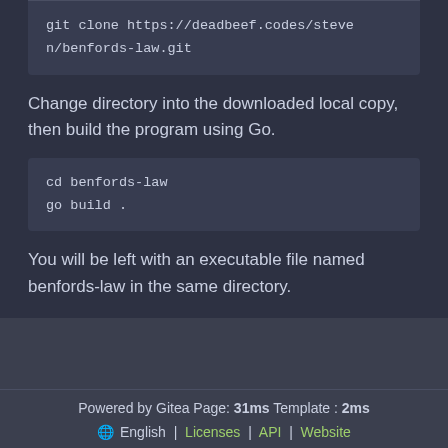git clone https://deadbeef.codes/steven/benfords-law.git
Change directory into the downloaded local copy, then build the program using Go.
cd benfords-law
go build .
You will be left with an executable file named benfords-law in the same directory.
Powered by Gitea Page: 31ms Template : 2ms
🌐 English | Licenses | API | Website